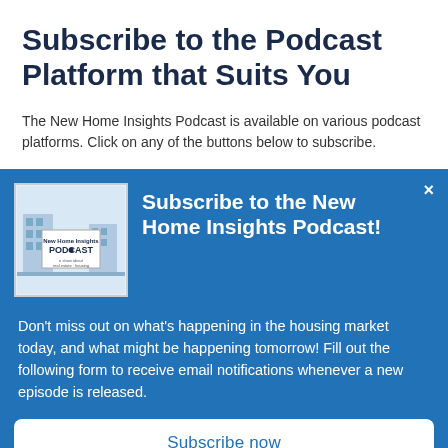Subscribe to the Podcast Platform that Suits You
The New Home Insights Podcast is available on various podcast platforms. Click on any of the buttons below to subscribe.
[Figure (logo): New Home Insights Podcast cover art showing a building illustration and text 'New Home Insights PODCAST']
Subscribe to the New Home Insights Podcast!
Don't miss out on what's happening in the housing market today, and what might be happening tomorrow! Fill out the following form to receive email notifications whenever a new episode is released.
Subscribe now